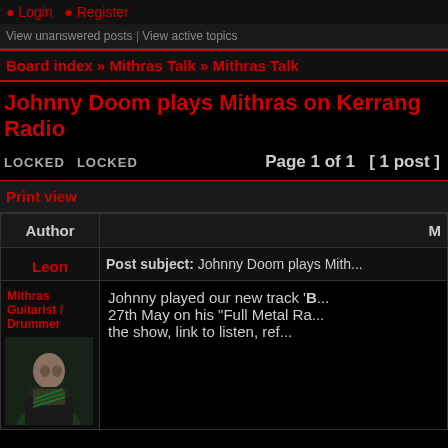● Login  ● Register
View unanswered posts | View active topics
Board index » Mithras Talk » Mithras Talk
Johnny Doom plays Mithras on Kerrang Radio
LOCKED   LOCKED   Page 1 of 1  [ 1 post ]
Print view
| Author | Message |
| --- | --- |
| Leon | Post subject: Johnny Doom plays Mith... |
| Mithras Guitarist / Drummer
[avatar image] | Johnny played our new track '
B...27th May on his "Full Metal Ra...the show, link to listen, ref... |